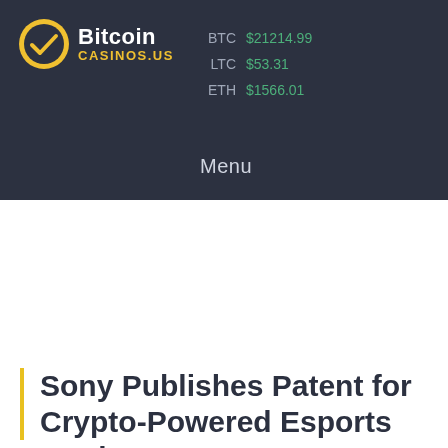Bitcoin CASINOS.US | BTC $21214.99 | LTC $53.31 | ETH $1566.01 | Menu
Sony Publishes Patent for Crypto-Powered Esports Betti...